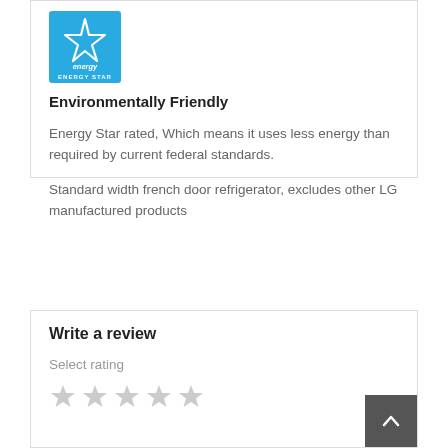[Figure (logo): Energy Star logo — blue background with white Energy Star text and star graphic]
Environmentally Friendly
Energy Star rated, Which means it uses less energy than required by current federal standards.
Standard width french door refrigerator, excludes other LG manufactured products
Write a review
Select rating
[Figure (other): Five grey/light star rating icons]